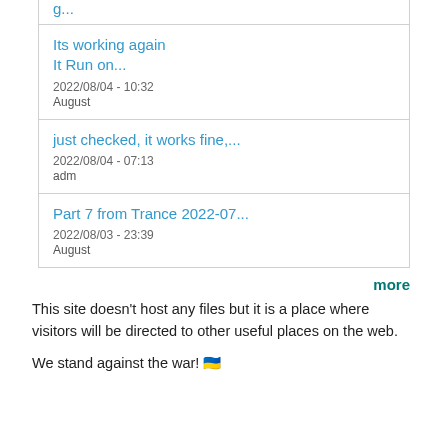Its working again
It Run on...
2022/08/04 - 10:32
August
just checked, it works fine,...
2022/08/04 - 07:13
adm
Part 7 from Trance 2022-07...
2022/08/03 - 23:39
August
more
This site doesn't host any files but it is a place where visitors will be directed to other useful places on the web.
We stand against the war! 🇺🇦